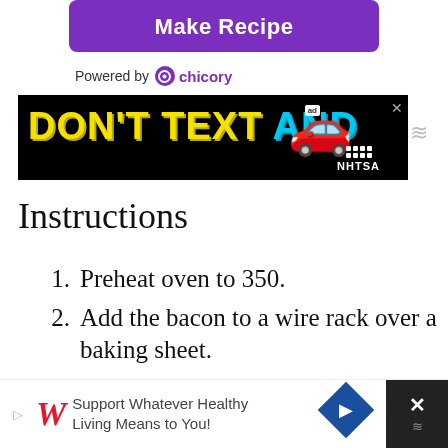[Figure (screenshot): Purple 'Make Recipe' button with white bold text]
Powered by chicory
[Figure (screenshot): Advertisement banner: DON'T TEXT AND [car emoji] NHTSA ad on black background with X close button]
Instructions
Preheat oven to 350.
Add the bacon to a wire rack over a baking sheet.
Bake until the bacon is crispy, about 15 minutes.
Remove the bacon and the
[Figure (screenshot): Bottom advertisement banner: Walgreens logo with 'Support Whatever Healthy Living Means to You!' text, blue diamond navigation icon, and close button]